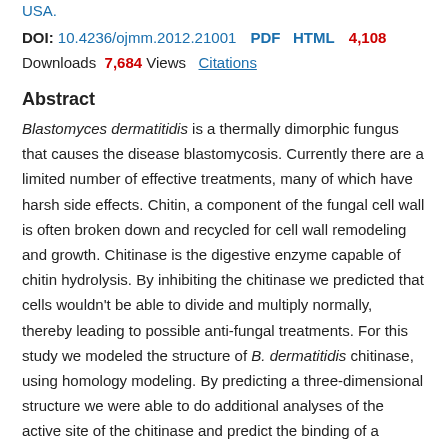USA.
DOI: 10.4236/ojmm.2012.21001  PDF  HTML  4,108  Downloads  7,684 Views  Citations
Abstract
Blastomyces dermatitidis is a thermally dimorphic fungus that causes the disease blastomycosis. Currently there are a limited number of effective treatments, many of which have harsh side effects. Chitin, a component of the fungal cell wall is often broken down and recycled for cell wall remodeling and growth. Chitinase is the digestive enzyme capable of chitin hydrolysis. By inhibiting the chitinase we predicted that cells wouldn't be able to divide and multiply normally, thereby leading to possible anti-fungal treatments. For this study we modeled the structure of B. dermatitidis chitinase, using homology modeling. By predicting a three-dimensional structure we were able to do additional analyses of the active site of the chitinase and predict the binding of a